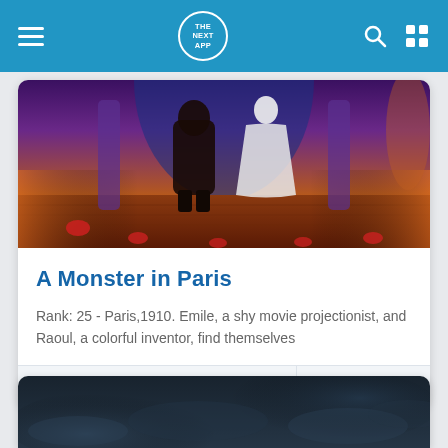THE NEXT APP - Navigation bar with hamburger menu, logo, search and grid icons
[Figure (screenshot): Animated movie scene from A Monster in Paris showing characters on a stage with warm orange and purple lighting]
A Monster in Paris
Rank: 25 - Paris,1910. Emile, a shy movie projectionist, and Raoul, a colorful inventor, find themselves
2011   ♥ 13.737928
[Figure (screenshot): Dark atmospheric scene, partially visible at bottom of page, appears to show a dark cloudy or smoky environment]